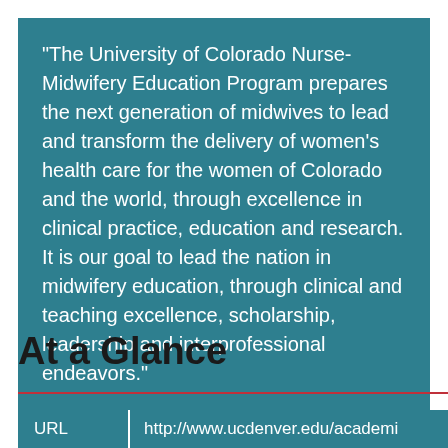“The University of Colorado Nurse-Midwifery Education Program prepares the next generation of midwives to lead and transform the delivery of women’s health care for the women of Colorado and the world, through excellence in clinical practice, education and research. It is our goal to lead the nation in midwifery education, through clinical and teaching excellence, scholarship, leadership and interprofessional endeavors.”
At a Glance
| URL | http://www.ucdenver.edu/academi... |
| --- | --- |